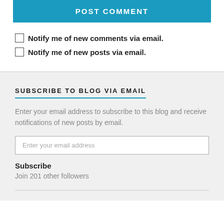[Figure (screenshot): POST COMMENT button in teal/blue color]
Notify me of new comments via email.
Notify me of new posts via email.
SUBSCRIBE TO BLOG VIA EMAIL
Enter your email address to subscribe to this blog and receive notifications of new posts by email.
Enter your email address
Subscribe
Join 201 other followers